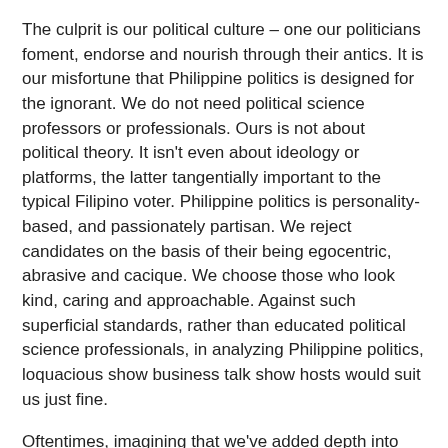The culprit is our political culture – one our politicians foment, endorse and nourish through their antics. It is our misfortune that Philippine politics is designed for the ignorant. We do not need political science professors or professionals. Ours is not about political theory. It isn't even about ideology or platforms, the latter tangentially important to the typical Filipino voter. Philippine politics is personality-based, and passionately partisan. We reject candidates on the basis of their being egocentric, abrasive and cacique. We choose those who look kind, caring and approachable. Against such superficial standards, rather than educated political science professionals, in analyzing Philippine politics, loquacious show business talk show hosts would suit us just fine.
Oftentimes, imagining that we've added depth into the political debate, we feature and televise chit-chatty talking heads, or self-styled columnists and news readers as analysts. Never mind that a good number, articulate and telegenic as they seem, are uneducated and un-pedigreed by any institution of higher learning worth its salt.